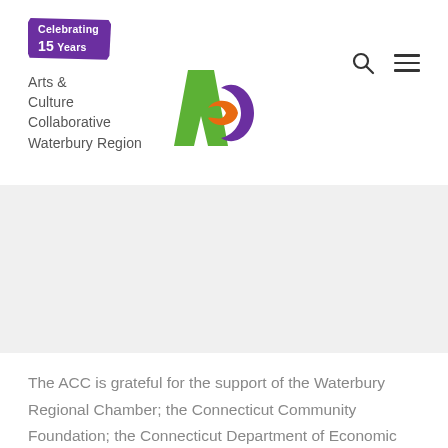[Figure (logo): Arts & Culture Collaborative Waterbury Region logo with 'Celebrating 15 Years' purple brush badge and ACC graphic mark in green, purple, and orange]
The ACC is grateful for the support of the Waterbury Regional Chamber; the Connecticut Community Foundation; the Connecticut Department of Economic and Community Development/Office of the Arts, which also